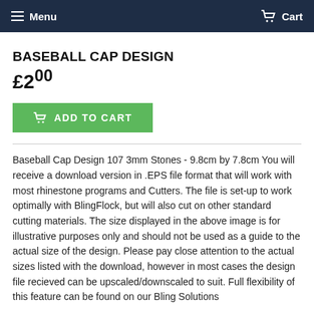Menu  Cart
BASEBALL CAP DESIGN
£2.00
ADD TO CART
Baseball Cap Design 107 3mm Stones - 9.8cm by 7.8cm You will receive a download version in .EPS file format that will work with most rhinestone programs and Cutters. The file is set-up to work optimally with BlingFlock, but will also cut on other standard cutting materials. The size displayed in the above image is for illustrative purposes only and should not be used as a guide to the actual size of the design. Please pay close attention to the actual sizes listed with the download, however in most cases the design file recieved can be upscaled/downscaled to suit. Full flexibility of this feature can be found on our Bling Solutions